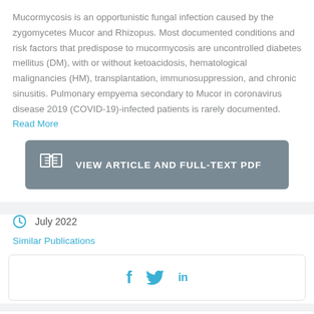Mucormycosis is an opportunistic fungal infection caused by the zygomycetes Mucor and Rhizopus. Most documented conditions and risk factors that predispose to mucormycosis are uncontrolled diabetes mellitus (DM), with or without ketoacidosis, hematological malignancies (HM), transplantation, immunosuppression, and chronic sinusitis. Pulmonary empyema secondary to Mucor in coronavirus disease 2019 (COVID-19)-infected patients is rarely documented. Read More
[Figure (other): Button: VIEW ARTICLE AND FULL-TEXT PDF with book icon]
July 2022
Similar Publications
[Figure (other): Social share icons: Facebook, Twitter, LinkedIn]
Factors associated with invasive fungal sinusitis in